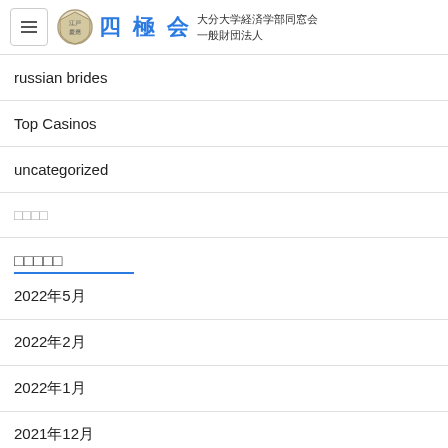四極会 大分大学経済学部同窓会 一般財団法人
russian brides
Top Casinos
uncategorized
□□□□
□□□□□
2022年5月
2022年2月
2022年1月
2021年12月